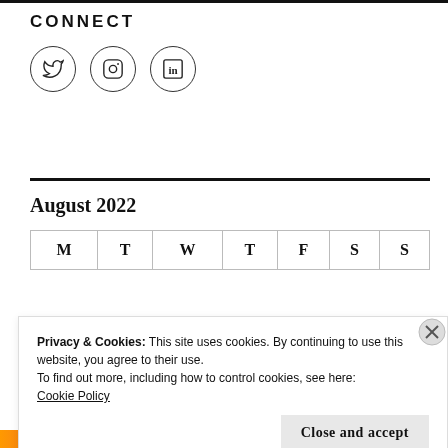CONNECT
[Figure (illustration): Three social media icons in circles: Twitter bird icon, Instagram camera icon, LinkedIn 'in' icon]
August 2022
| M | T | W | T | F | S | S |
| --- | --- | --- | --- | --- | --- | --- |
Privacy & Cookies: This site uses cookies. By continuing to use this website, you agree to their use.
To find out more, including how to control cookies, see here:
Cookie Policy
Close and accept